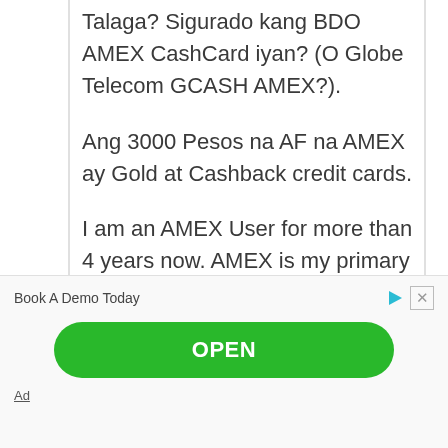Talaga? Sigurado kang BDO AMEX CashCard iyan? (O Globe Telecom GCASH AMEX?).
Ang 3000 Pesos na AF na AMEX ay Gold at Cashback credit cards.
I am an AMEX User for more than 4 years now. AMEX is my primary card.
Reply
Book A Demo Today
OPEN
Ad